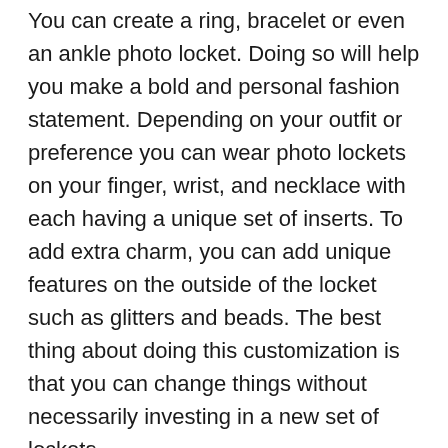You can create a ring, bracelet or even an ankle photo locket. Doing so will help you make a bold and personal fashion statement. Depending on your outfit or preference you can wear photo lockets on your finger, wrist, and necklace with each having a unique set of inserts. To add extra charm, you can add unique features on the outside of the locket such as glitters and beads. The best thing about doing this customization is that you can change things without necessarily investing in a new set of lockets.
Perfect Gift Option
Thinking of what to give your friend or family member for his or her birthday? Well, think no further. Photo lockets make the perfect gift as it gives one that intimate connection and opportunity to place things of sentimental value. For things to place inside a photo locket, you can play around with photographs, messages of love and inspiration. Hair, Quartz